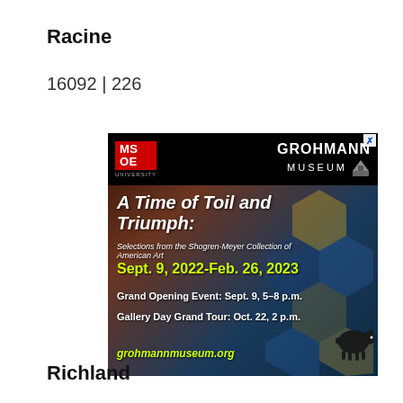Racine
16092 | 226
[Figure (screenshot): Advertisement for Grohmann Museum at MSOE featuring 'A Time of Toil and Triumph: Selections from the Shogren-Meyer Collection of American Art', Sept. 9, 2022–Feb. 26, 2023, with Grand Opening Event Sept. 9, 5–8 p.m. and Gallery Day Grand Tour Oct. 22, 2 p.m. Website: grohmannmuseum.org]
[Figure (illustration): Small black silhouette icon of a sheep]
Richland